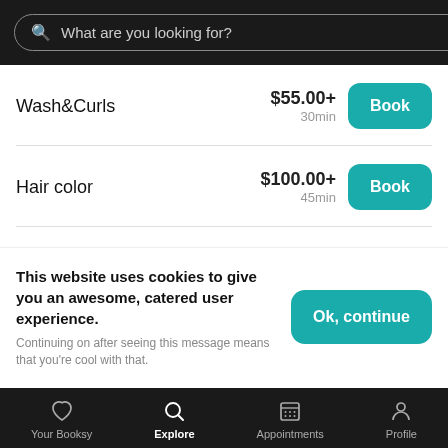What are you looking for?
Wash&Curls
$55.00+
30min
Hair color
$100.00+
45min
This website uses cookies to give you an awesome, catered user experience. Continuing on after seeing this message means that you're cool with that.
Your Booksy | Explore | Appointments | Profile